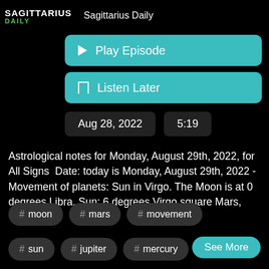SAGITTARIUS DAILY   Sagittarius Daily
▶ Play Episode
🔖 Listen Later
Aug 28, 2022   5:19
Astrological notes for Monday, August 29th, 2022, for All Signs  Date: today is Monday, August 29th, 2022 - Movement of planets: Sun in Virgo. The Moon is at 0 degrees Libra. Sun: 6 degrees Virgo square Mars,
See More
# moon
# mars
# movement
# sun
# jupiter
# mercury